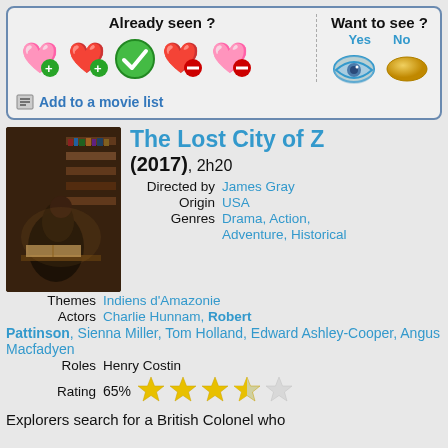Already seen ?
Want to see ? Yes No
Add to a movie list
The Lost City of Z
(2017), 2h20
| Field | Value |
| --- | --- |
| Directed by | James Gray |
| Origin | USA |
| Genres | Drama, Action, Adventure, Historical |
| Themes | Indiens d'Amazonie |
| Actors | Charlie Hunnam, Robert Pattinson, Sienna Miller, Tom Holland, Edward Ashley-Cooper, Angus Macfadyen |
| Roles | Henry Costin |
| Rating | 65% |
Explorers search for a British Colonel who